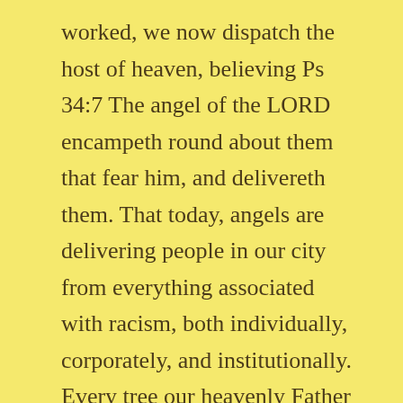worked, we now dispatch the host of heaven, believing Ps 34:7 The angel of the LORD encampeth round about them that fear him, and delivereth them. That today, angels are delivering people in our city from everything associated with racism, both individually, corporately, and institutionally. Every tree our heavenly Father has not planted, must be rooted up, and we are appointed and anointed to uproot, destroy, build and plant. We uproot every root of racism, and destroy